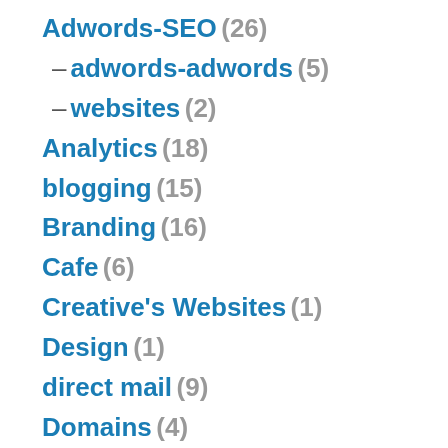Adwords-SEO (26)
– adwords-adwords (5)
– websites (2)
Analytics (18)
blogging (15)
Branding (16)
Cafe (6)
Creative's Websites (1)
Design (1)
direct mail (9)
Domains (4)